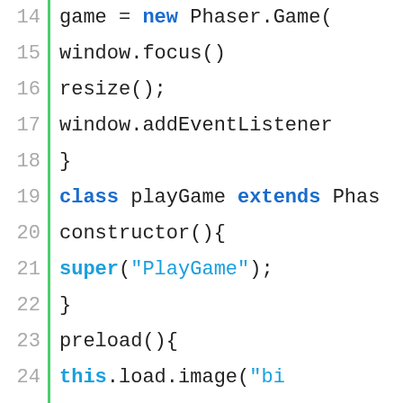[Figure (screenshot): Code editor screenshot showing JavaScript/Phaser game code, lines 14-36, with line numbers on the left separated by a green vertical bar. Line 35 is highlighted with a green background on the line number and gray background on the code area. The code shows a playGame class extending Phaser with constructor, preload, and create methods, using 'this' and 'super' keywords highlighted in blue.]